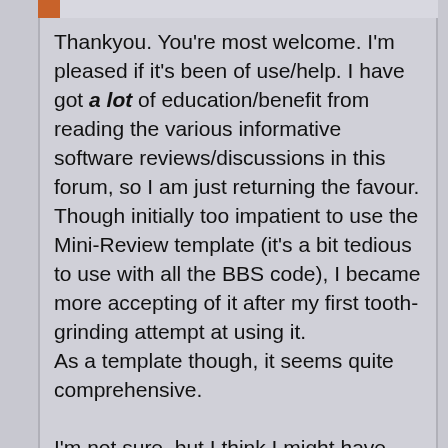Thankyou. You're most welcome. I'm pleased if it's been of use/help. I have got a lot of education/benefit from reading the various informative software reviews/discussions in this forum, so I am just returning the favour. Though initially too impatient to use the Mini-Review template (it's a bit tedious to use with all the BBS code), I became more accepting of it after my first tooth-grinding attempt at using it. As a template though, it seems quite comprehensive.

I'm not sure, but I think I might have first read about HDS in a DCF member's signature somewhere. I have been unable to find out which one now though. Anyway, I thought that if someone felt that HDS was worth putting in their signature, then it might be worth looking at the product. It was!